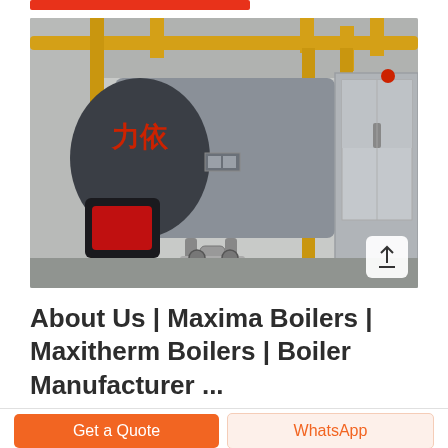[Figure (photo): Industrial boiler equipment in a factory setting. A large cylindrical horizontal steam boiler with Chinese characters on its front face, red burner assembly, yellow piping and railing structures, and a grey electrical control cabinet on the right side.]
About Us | Maxima Boilers | Maxitherm Boilers | Boiler Manufacturer ...
Get a Quote
WhatsApp